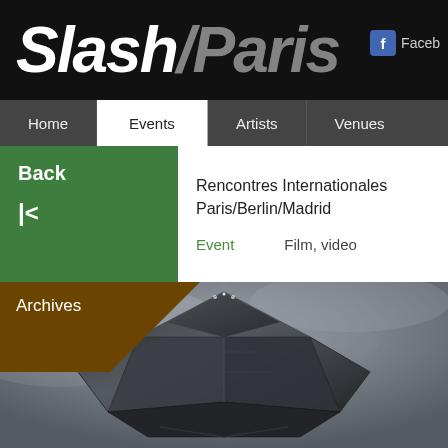Slash/Paris
Facebo
Home  Events  Artists  Venues
Back
Rencontres Internationales Paris/Berlin/Madrid
Event    Film, video
Archives
[Figure (photo): Dark futuristic spacecraft or structure photographed from below against a cloudy grey sky, with angular geometric shapes and a communications antenna or mast at the top]